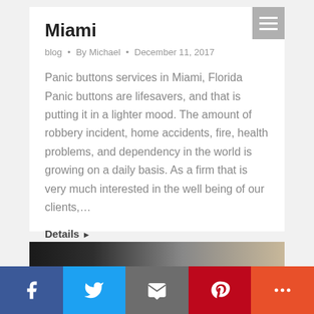Miami
blog • By Michael • December 11, 2017
Panic buttons services in Miami, Florida Panic buttons are lifesavers, and that is putting it in a lighter mood. The amount of robbery incident, home accidents, fire, health problems, and dependency in the world is growing on a daily basis. As a firm that is very much interested in the well being of our clients,…
Details ▶
[Figure (photo): Partial dark/light photo visible at bottom of page]
Social share bar: Facebook, Twitter, Email, Pinterest, More